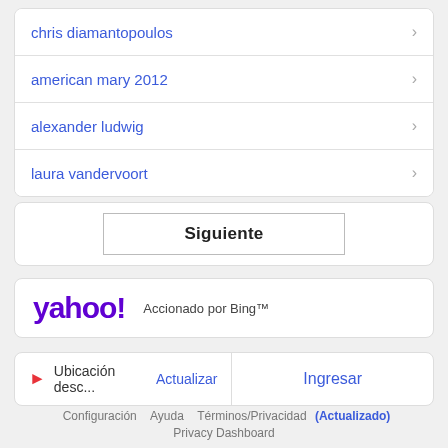chris diamantopoulos
american mary 2012
alexander ludwig
laura vandervoort
Siguiente
[Figure (logo): Yahoo! logo in purple with exclamation mark]
Accionado por Bing™
Ubicación desc... Actualizar
Ingresar
Configuración   Ayuda   Términos/Privacidad (Actualizado)
Privacy Dashboard